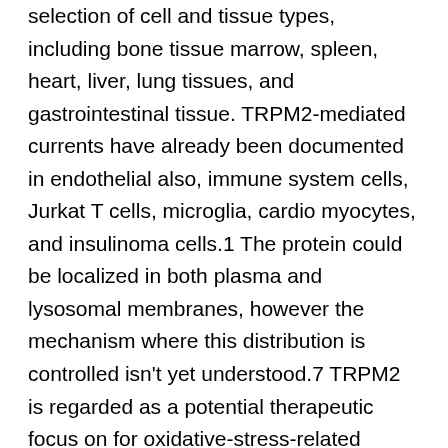selection of cell and tissue types, including bone tissue marrow, spleen, heart, liver, lung tissues, and gastrointestinal tissue. TRPM2-mediated currents have already been documented in endothelial also, immune system cells, Jurkat T cells, microglia, cardio myocytes, and insulinoma cells.1 The protein could be localized in both plasma and lysosomal membranes, however the mechanism where this distribution is controlled isn't yet understood.7 TRPM2 is regarded as a potential therapeutic focus on for oxidative-stress-related pathologies, neurodegenerative diseases, and chronic inflammation. Particularly, it really is implicated in heart stroke,8 Parkinsons disease,9 amyloid-species that highly inhibits TRPM2-mediated currents within a period- and concentration-dependent way. We explain the bioassay-linked fractionation from the energetic sponge extract, which resulted in the discovery from the known sesterterpenes 12-deacetylscalaradial and scalaradial as powerful TRPM2 inhibitors. We also present proof that